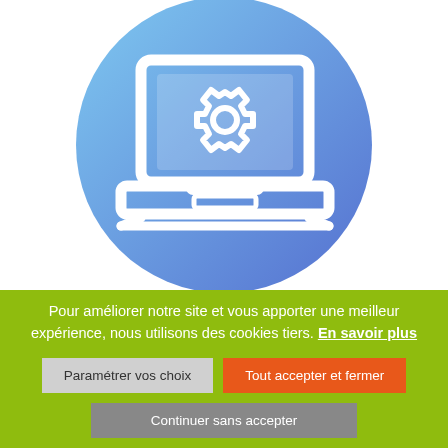[Figure (illustration): A circular icon with blue gradient background showing a laptop computer with a gear/settings cog icon on the screen, rendered in white outline style on blue gradient circle.]
Pour améliorer notre site et vous apporter une meilleur expérience, nous utilisons des cookies tiers. En savoir plus
Paramétrer vos choix
Tout accepter et fermer
Continuer sans accepter